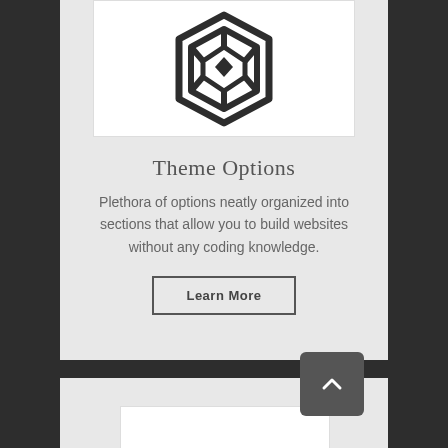[Figure (logo): Hexagonal logo with a stylized letter P inside, rendered in dark stroke lines on white background]
Theme Options
Plethora of options neatly organized into sections that allow you to build websites without any coding knowledge.
Learn More